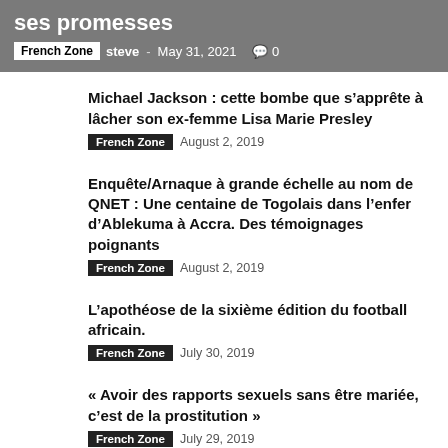ses promesses
French Zone  steve  May 31, 2021  0
Michael Jackson : cette bombe que s’apprête à lâcher son ex-femme Lisa Marie Presley
French Zone  August 2, 2019
Enquête/Arnaque à grande échelle au nom de QNET : Une centaine de Togolais dans l’enfer d’Ablekuma à Accra. Des témoignages poignants
French Zone  August 2, 2019
L’apothéose de la sixième édition du football africain.
French Zone  July 30, 2019
« Avoir des rapports sexuels sans être mariée, c’est de la prostitution »
French Zone  July 29, 2019